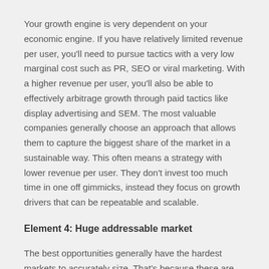Your growth engine is very dependent on your economic engine. If you have relatively limited revenue per user, you'll need to pursue tactics with a very low marginal cost such as PR, SEO or viral marketing.  With a higher revenue per user, you'll also be able to effectively arbitrage growth through paid tactics like display advertising and SEM.  The most valuable companies generally choose an approach that allows them to capture the biggest share of the market in a sustainable way.  This often means a strategy with lower revenue per user.  They don't invest too much time in one off gimmicks, instead they focus on growth drivers that can be repeatable and scalable.
Element 4: Huge addressable market
The best opportunities generally have the hardest markets to accurately size.  That's because these are fast growing or whole new markets that are based on potential rather than existing customers.  Perfect accuracy on market sizing is it important...